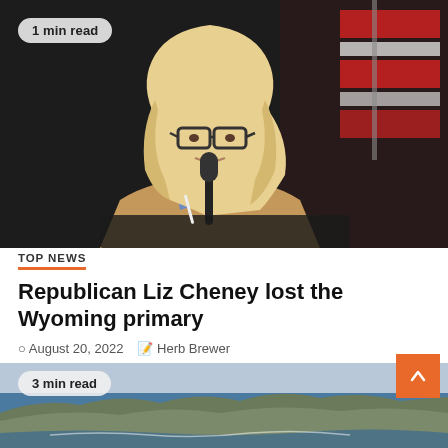[Figure (photo): Woman with blonde hair and glasses speaking at a podium with a microphone, wearing a tan jacket over a blue checked shirt; an American flag is visible in the background; dark background]
1 min read
TOP NEWS
Republican Liz Cheney lost the Wyoming primary
August 20, 2022   Herb Brewer
[Figure (photo): Coastal landscape photo showing rocky coastline with ocean and cliffs; partially visible at the bottom of the page]
3 min read